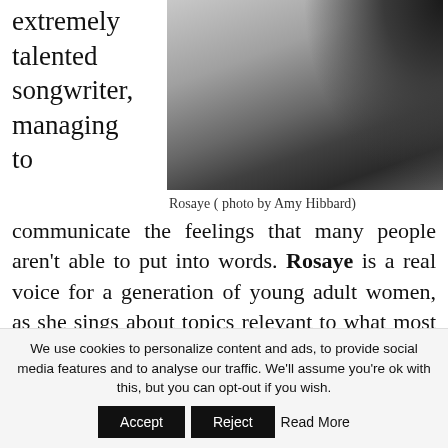extremely talented songwriter, managing to
[Figure (photo): Grayscale photo of Rosaye, showing her from behind/side with dark flowing hair against a light background.]
Rosaye ( photo by Amy Hibbard)
communicate the feelings that many people aren't able to put into words. Rosaye is a real voice for a generation of young adult women, as she sings about topics relevant to what most of them would currently be dealing with and thinking of. Rosaye's
We use cookies to personalize content and ads, to provide social media features and to analyse our traffic. We'll assume you're ok with this, but you can opt-out if you wish. Accept Reject Read More